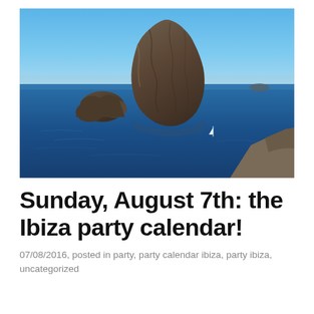[Figure (photo): Aerial or elevated view of Es Vedrà rock island off the coast of Ibiza, Spain. A large dramatic rocky island rises from a deep blue sea under a clear blue sky. Smaller rock formations are visible to the left. A small sailboat is visible in the water below.]
Sunday, August 7th: the Ibiza party calendar!
07/08/2016, posted in party, party calendar ibiza, party ibiza, uncategorized